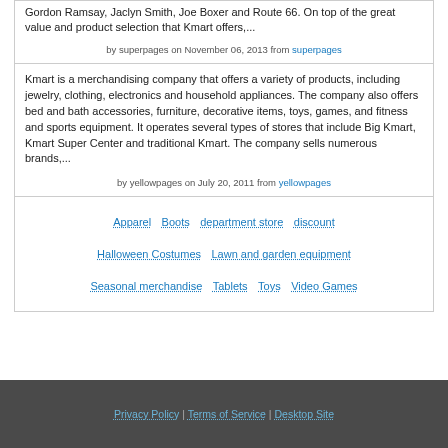Gordon Ramsay, Jaclyn Smith, Joe Boxer and Route 66. On top of the great value and product selection that Kmart offers,...
by superpages on November 06, 2013 from superpages
Kmart is a merchandising company that offers a variety of products, including jewelry, clothing, electronics and household appliances. The company also offers bed and bath accessories, furniture, decorative items, toys, games, and fitness and sports equipment. It operates several types of stores that include Big Kmart, Kmart Super Center and traditional Kmart. The company sells numerous brands,...
by yellowpages on July 20, 2011 from yellowpages
Apparel
Boots
department store
discount
Halloween Costumes
Lawn and garden equipment
Seasonal merchandise
Tablets
Toys
Video Games
Privacy Policy | Terms of Service | Desktop Site